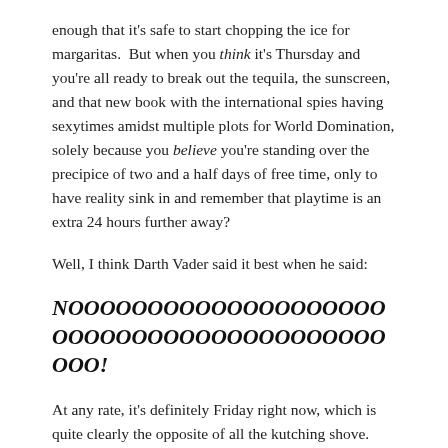enough that it's safe to start chopping the ice for margaritas.  But when you think it's Thursday and you're all ready to break out the tequila, the sunscreen, and that new book with the international spies having sexytimes amidst multiple plots for World Domination, solely because you believe you're standing over the precipice of two and a half days of free time, only to have reality sink in and remember that playtime is an extra 24 hours further away?
Well, I think Darth Vader said it best when he said:
NOOOOOOOOOOOOOOOOOOOOOOOOOOOOOOOOOOOOOO!
At any rate, it's definitely Friday right now, which is quite clearly the opposite of all the kutching shove. That is to